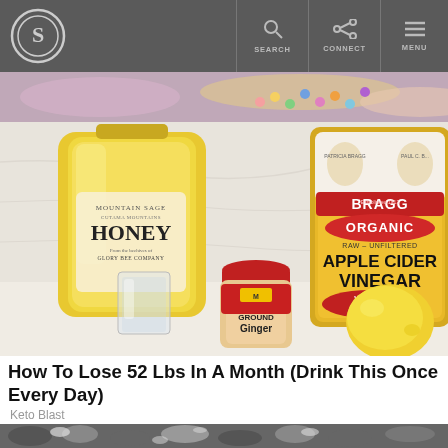S [logo] | SEARCH | CONNECT | MENU
[Figure (photo): Partial top image strip showing colorful background]
[Figure (photo): Photo of honey bottle (Mountain Sage Honey, Glory Bee Company), Bragg Organic Raw Unfiltered Apple Cider Vinegar bottle, a small glass, McCormick Ground Ginger spice jar, and a lemon on a white marble surface]
How To Lose 52 Lbs In A Month (Drink This Once Every Day)
Keto Blast
[Figure (photo): Bottom partial image showing dark stones or gravel]